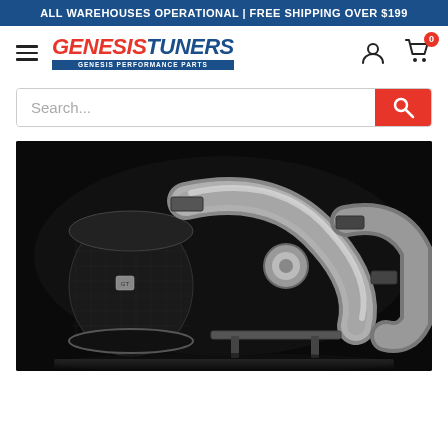ALL WAREHOUSES OPERATIONAL | FREE SHIPPING OVER $199
[Figure (logo): Genesis Tuners logo with red GENESIS and blue TUNERS text, italic bold, with tagline GENESIS PERFORMANCE PARTS]
Search...
[Figure (photo): Performance car intake system with carbon fiber air filters and polished aluminum pipes photographed on black background]